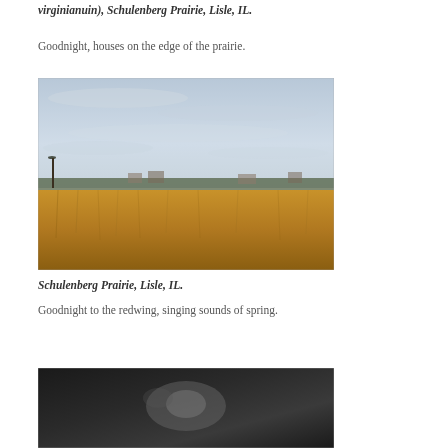virginianuin), Schulenberg Prairie, Lisle, IL.
Goodnight, houses on the edge of the prairie.
[Figure (photo): Wide landscape photograph of a flat prairie with tall golden-brown grasses in the foreground, a lone bare tree on the left, a treeline with houses visible in the distance, and a pale grey cloudy sky above.]
Schulenberg Prairie, Lisle, IL.
Goodnight to the redwing, singing sounds of spring.
[Figure (photo): Partially visible photograph at the bottom of the page, dark with blurry elements, subject unclear — likely a bird or nature scene.]